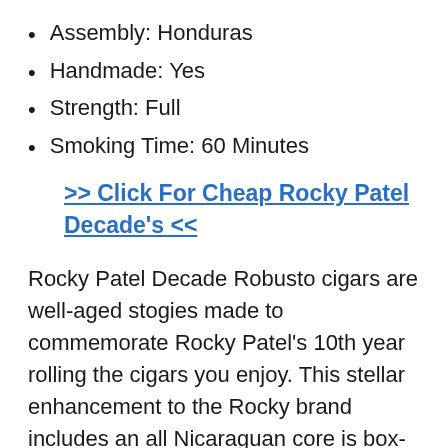Assembly: Honduras
Handmade: Yes
Strength: Full
Smoking Time: 60 Minutes
>> Click For Cheap Rocky Patel Decade's <<
Rocky Patel Decade Robusto cigars are well-aged stogies made to commemorate Rocky Patel's 10th year rolling the cigars you enjoy. This stellar enhancement to the Rocky brand includes an all Nicaraguan core is box-pressed with a abundant Ecuadorian Sumatra wrapper finishing this impressive cigar.
5. Oliva Serie O